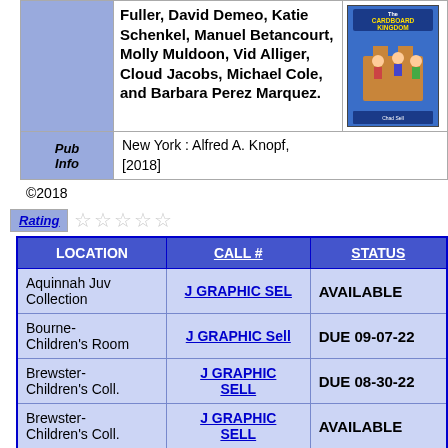|  | Author / Title | Cover |
| --- | --- | --- |
|  | Fuller, David Demeo, Katie Schenkel, Manuel Betancourt, Molly Muldoon, Vid Alliger, Cloud Jacobs, Michael Cole, and Barbara Perez Marquez. | [book cover image] |
| Pub Info |  |
| --- | --- |
| Pub Info | New York : Alfred A. Knopf, [2018] |
©2018
Rating ☆☆☆☆☆
| LOCATION | CALL # | STATUS |
| --- | --- | --- |
| Aquinnah Juv Collection | J GRAPHIC SEL | AVAILABLE |
| Bourne- Children's Room | J GRAPHIC Sell | DUE 09-07-22 |
| Brewster- Children's Coll. | J GRAPHIC SELL | DUE 08-30-22 |
| Brewster- Children's Coll. | J GRAPHIC SELL | AVAILABLE |
| Brooks(Harwich)- Children | J GRAPHIC NOVEL SEL | AVAILABLE |